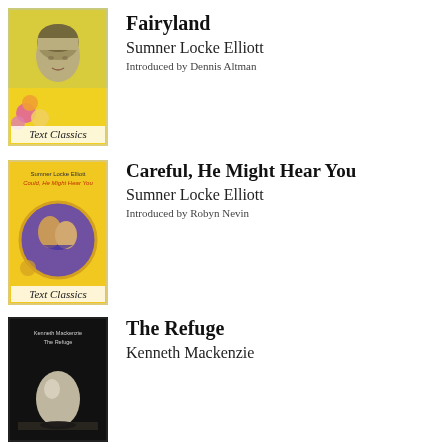[Figure (illustration): Book cover of Fairyland by Sumner Locke Elliott – Text Classics edition. Yellow background with a young man's face and tropical flowers (plumeria).]
Fairyland
Sumner Locke Elliott
Introduced by Dennis Altman
[Figure (illustration): Book cover of Careful, He Might Hear You by Sumner Locke Elliott – Text Classics edition. Yellow background with a circular vignette of two figures in an embrace.]
Careful, He Might Hear You
Sumner Locke Elliott
Introduced by Robyn Nevin
[Figure (illustration): Book cover of The Refuge by Kenneth Mackenzie – dark cover with a white egg-like object on a surface.]
The Refuge
Kenneth Mackenzie